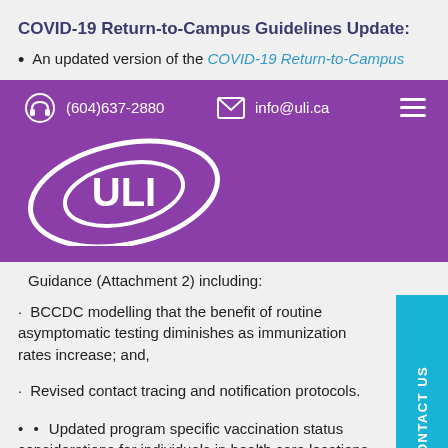COVID-19 Return-to-Campus Guidelines Update:
An updated version of the COVID-19 Return-to-Campus
[Figure (screenshot): ULI website navigation banner in purple showing phone number (604)637-2880, email info@uli.ca, ULI logo, and hamburger menu icon]
Guidance (Attachment 2) including:
BCCDC modelling that the benefit of routine asymptomatic testing diminishes as immunization rates increase; and,
Revised contact tracing and notification protocols.
Updated program specific vaccination status considerations for individuals in health care locations